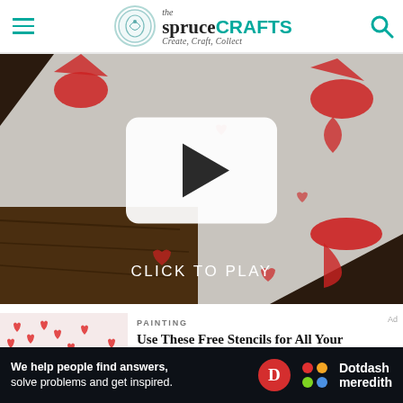the spruce CRAFTS — Create, Craft, Collect
[Figure (screenshot): Video thumbnail showing fabric with red heart and fox stencil prints on a wooden background, with a white rounded-rectangle play button overlay and 'CLICK TO PLAY' text]
PAINTING
Use These Free Stencils for All Your Valentine Projects
[Figure (photo): Thumbnail image of white fabric or paper with many small red heart shapes scattered across it]
We help people find answers, solve problems and get inspired. Dotdash meredith